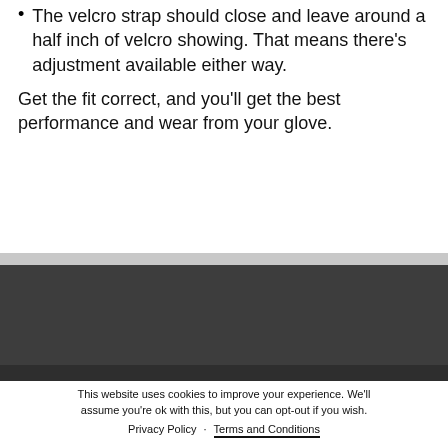The velcro strap should close and leave around a half inch of velcro showing. That means there's adjustment available either way.
Get the fit correct, and you'll get the best performance and wear from your glove.
This website uses cookies to improve your experience. We'll assume you're ok with this, but you can opt-out if you wish. Privacy Policy · Terms and Conditions